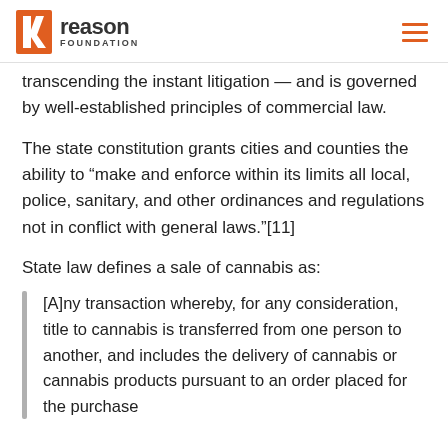Reason Foundation
transcending the instant litigation — and is governed by well-established principles of commercial law.
The state constitution grants cities and counties the ability to “make and enforce within its limits all local, police, sanitary, and other ordinances and regulations not in conflict with general laws.”[11]
State law defines a sale of cannabis as:
[A]ny transaction whereby, for any consideration, title to cannabis is transferred from one person to another, and includes the delivery of cannabis or cannabis products pursuant to an order placed for the purchase